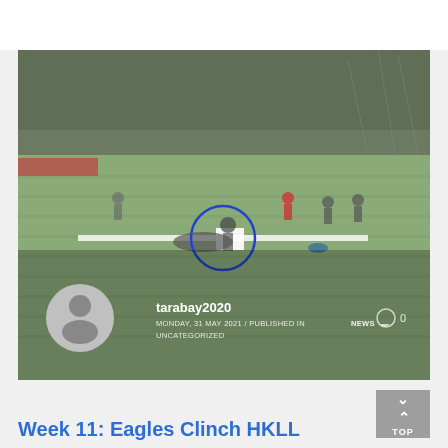[Figure (photo): Outdoor sports field scene showing baseball/softball players on a green turf field. A play is happening at a base with a player sliding and another fielding. A blue circle annotation is drawn around the base play area. Trees and fencing visible in background. Author overlay at bottom with avatar, username tarabay2020, date and category info.]
tarabay2020
MONDAY, 31 MAY 2021 / PUBLISHED IN NEWS UNCATEGORIZED
Week 11: Eagles Clinch HKLL